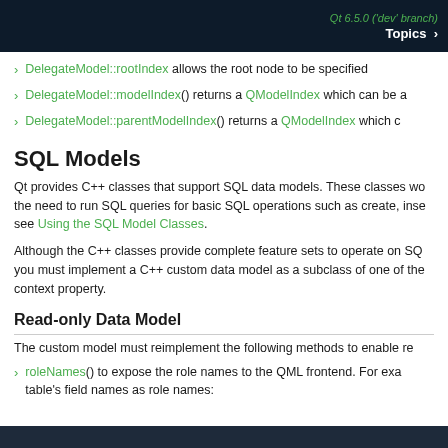Qt 6.5.0 ('dev' branch)  Topics >
DelegateModel::rootIndex allows the root node to be specified
DelegateModel::modelIndex() returns a QModelIndex which can be a
DelegateModel::parentModelIndex() returns a QModelIndex which c
SQL Models
Qt provides C++ classes that support SQL data models. These classes wo the need to run SQL queries for basic SQL operations such as create, inse see Using the SQL Model Classes.
Although the C++ classes provide complete feature sets to operate on SQ you must implement a C++ custom data model as a subclass of one of th context property.
Read-only Data Model
The custom model must reimplement the following methods to enable re
roleNames() to expose the role names to the QML frontend. For exa table's field names as role names:
[Figure (screenshot): Dark code block area at bottom of page]